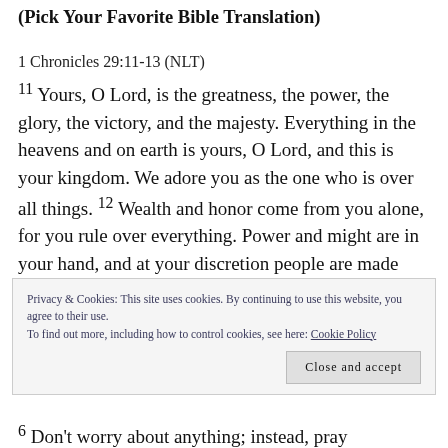(Pick Your Favorite Bible Translation)
1 Chronicles 29:11-13 (NLT)
11 Yours, O Lord, is the greatness, the power, the glory, the victory, and the majesty. Everything in the heavens and on earth is yours, O Lord, and this is your kingdom. We adore you as the one who is over all things. 12 Wealth and honor come from you alone, for you rule over everything. Power and might are in your hand, and at your discretion people are made great and given
Privacy & Cookies: This site uses cookies. By continuing to use this website, you agree to their use.
To find out more, including how to control cookies, see here: Cookie Policy
6 Don't worry about anything; instead, pray